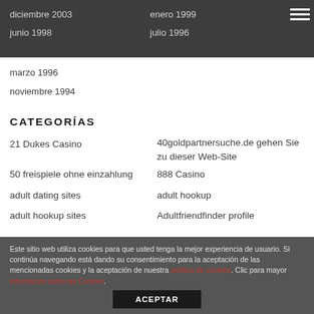diciembre 2003
enero 1999
junio 1998
julio 1996
marzo 1996
noviembre 1994
CATEGORÍAS
21 Dukes Casino
40goldpartnersuche.de gehen Sie zu dieser Web-Site
50 freispiele ohne einzahlung
888 Casino
adult dating sites
adult hookup
adult hookup sites
Adultfriendfinder profile
Este sitio web utiliza cookies para que usted tenga la mejor experiencia de usuario. Si continúa navegando está dando su consentimiento para la aceptación de las mencionadas cookies y la aceptación de nuestra política de cookies. Clic para mayor información sobre las Cookies.